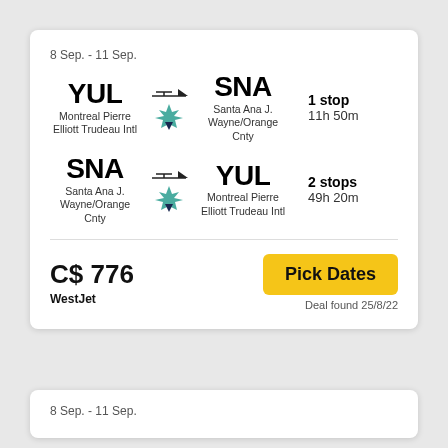8 Sep. - 11 Sep.
YUL → SNA, Montreal Pierre Elliott Trudeau Intl to Santa Ana J. Wayne/Orange Cnty, 1 stop, 11h 50m
SNA → YUL, Santa Ana J. Wayne/Orange Cnty to Montreal Pierre Elliott Trudeau Intl, 2 stops, 49h 20m
C$ 776
WestJet
Pick Dates
Deal found 25/8/22
8 Sep. - 11 Sep.